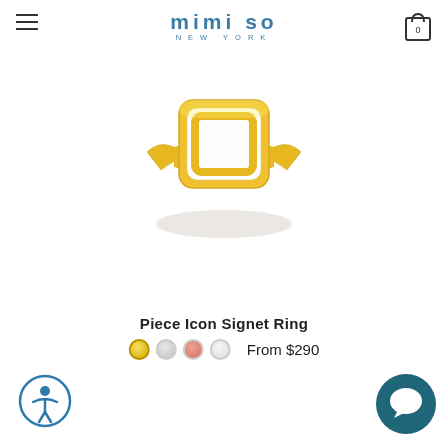mimi so NEW YORK
[Figure (photo): Gold signet ring with white enamel square design and inner square cutout, product photo on white background with shadow]
Piece Icon Signet Ring
From $290
[Figure (logo): Accessibility icon button (circular, blue border, person icon)]
[Figure (logo): Chat/support button (dark teal circle with chat bubble icon)]